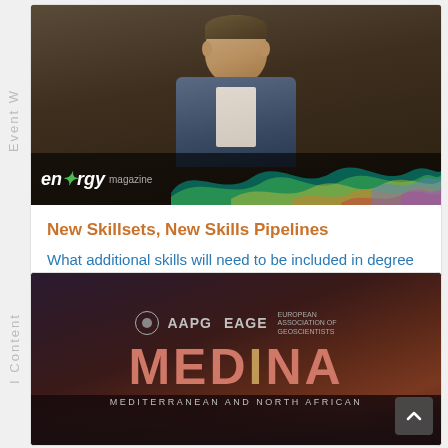Event W
[Figure (photo): Man in blue blazer seated at a table, with an energy/seismic wave graphic overlay at the bottom showing the 'energy' logo]
New Skillsets, New Skills Pipelines
What additional skills will need to be included in degree c...
I Content
[Figure (photo): AAPG EAGE MEDiNA conference card - Mediterranean and North African event banner with dark background and colorful sunset]